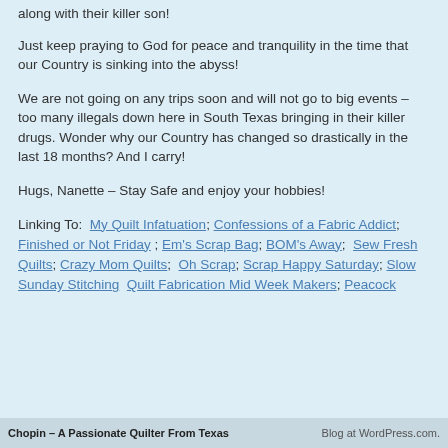along with their killer son!
Just keep praying to God for peace and tranquility in the time that our Country is sinking into the abyss!
We are not going on any trips soon and will not go to big events – too many illegals down here in South Texas bringing in their killer drugs. Wonder why our Country has changed so drastically in the last 18 months? And I carry!
Hugs, Nanette – Stay Safe and enjoy your hobbies!
Linking To:  My Quilt Infatuation; Confessions of a Fabric Addict; Finished or Not Friday ; Em's Scrap Bag; BOM's Away;  Sew Fresh Quilts; Crazy Mom Quilts;  Oh Scrap; Scrap Happy Saturday; Slow Sunday Stitching  Quilt Fabrication Mid Week Makers; Peacock
Chopin – A Passionate Quilter From Texas    Blog at WordPress.com.